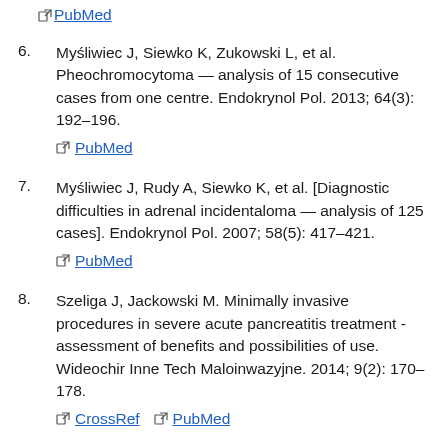PubMed (link at top of page)
6. Myśliwiec J, Siewko K, Zukowski L, et al. Pheochromocytoma — analysis of 15 consecutive cases from one centre. Endokrynol Pol. 2013; 64(3): 192–196. PubMed
7. Myśliwiec J, Rudy A, Siewko K, et al. [Diagnostic difficulties in adrenal incidentaloma — analysis of 125 cases]. Endokrynol Pol. 2007; 58(5): 417–421. PubMed
8. Szeliga J, Jackowski M. Minimally invasive procedures in severe acute pancreatitis treatment - assessment of benefits and possibilities of use. Wideochir Inne Tech Maloinwazyjne. 2014; 9(2): 170–178. CrossRef PubMed